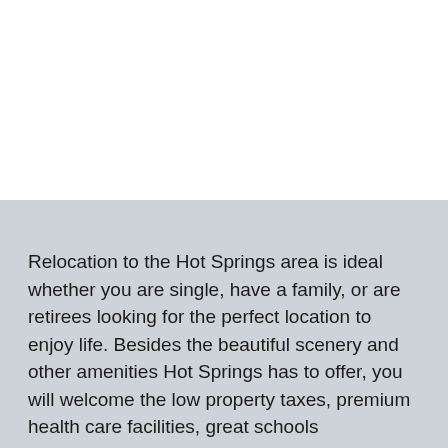Relocation to the Hot Springs area is ideal whether you are single, have a family, or are retirees looking for the perfect location to enjoy life. Besides the beautiful scenery and other amenities Hot Springs has to offer, you will welcome the low property taxes, premium health care facilities, great schools